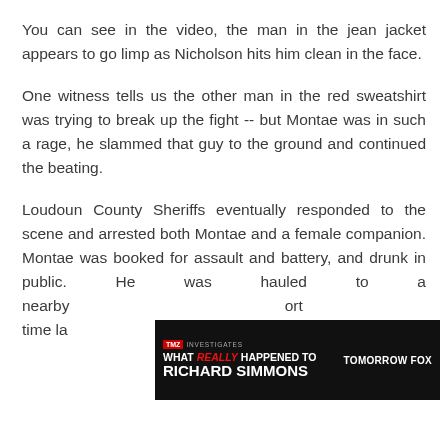You can see in the video, the man in the jean jacket appears to go limp as Nicholson hits him clean in the face.
One witness tells us the other man in the red sweatshirt was trying to break up the fight -- but Montae was in such a rage, he slammed that guy to the ground and continued the beating.
Loudoun County Sheriffs eventually responded to the scene and arrested both Montae and a female companion. Montae was booked for assault and battery, and drunk in public. He was hauled to a nearby [ad overlay] ort time la[ter]
[Figure (screenshot): TMZ Investigates advertisement banner: 'WHAT REALLY HAPPENED TO RICHARD SIMMONS — TOMORROW FOX']